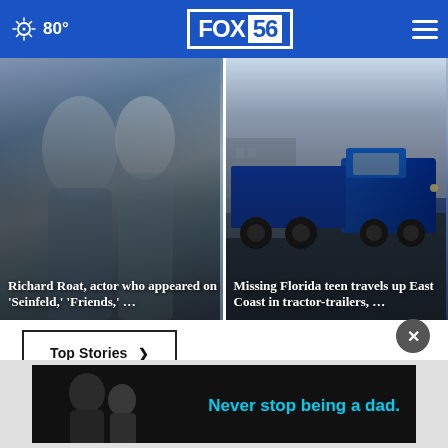FOX 56 — 80°
[Figure (photo): News story thumbnail: Richard Roat actor who appeared on Seinfeld and Friends — people in coats]
Richard Roat, actor who appeared on 'Seinfeld,' 'Friends,' …
[Figure (photo): News story thumbnail: Missing Florida teen travels up East Coast in tractor-trailers — blue semi truck]
Missing Florida teen travels up East Coast in tractor-trailers, …
Top Stories ▶
[Figure (photo): Advertisement banner: black and white photo of child and adult with text Never stop being a dad.]